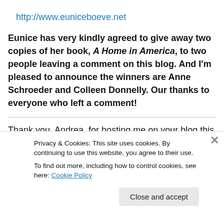http://www.euniceboeve.net
Eunice has very kindly agreed to give away two copies of her book, A Home in America, to two people leaving a comment on this blog. And I'm pleased to announce the winners are Anne Schroeder and Colleen Donnelly.  Our thanks to everyone who left a comment!
Thank you, Andrea, for hosting me on your blog this month.
Privacy & Cookies: This site uses cookies. By continuing to use this website, you agree to their use.
To find out more, including how to control cookies, see here: Cookie Policy